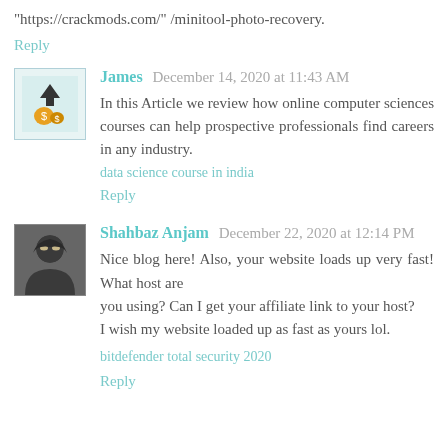"https://crackmods.com/" /minitool-photo-recovery.
Reply
James  December 14, 2020 at 11:43 AM
In this Article we review how online computer sciences courses can help prospective professionals find careers in any industry.
data science course in india
Reply
Shahbaz Anjam  December 22, 2020 at 12:14 PM
Nice blog here! Also, your website loads up very fast! What host are
you using? Can I get your affiliate link to your host?
I wish my website loaded up as fast as yours lol.
bitdefender total security 2020
Reply